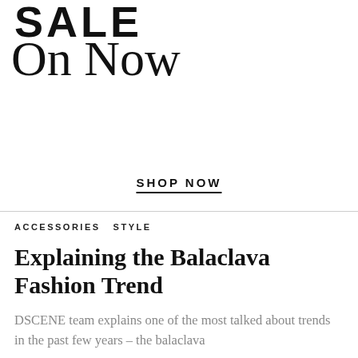[Figure (other): Advertisement block with 'SALE On Now' text and a SHOP NOW call-to-action link]
ACCESSORIES  STYLE
Explaining the Balaclava Fashion Trend
DSCENE team explains one of the most talked about trends in the past few years – the balaclava